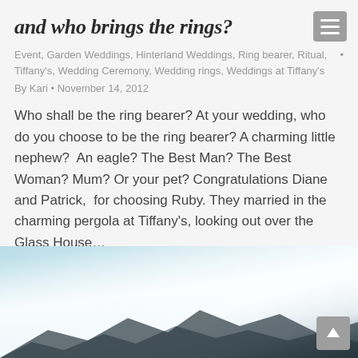and who brings the rings?
Event, Garden Weddings, Hinterland Weddings, Ring bearer, Ritual, Tiffany's, Wedding Ceremony, Wedding rings, Weddings at Tiffany's
By Kari • November 14, 2012
Who shall be the ring bearer? At your wedding, who do you choose to be the ring bearer? A charming little nephew?  An eagle? The Best Man? The Best Woman? Mum? Or your pet? Congratulations Diane and Patrick,  for choosing Ruby. They married in the charming pergola at Tiffany's, looking out over the Glass House…
[Figure (photo): Landscape photo showing a scenic view with sky, light haze, and mountain silhouettes in the background]